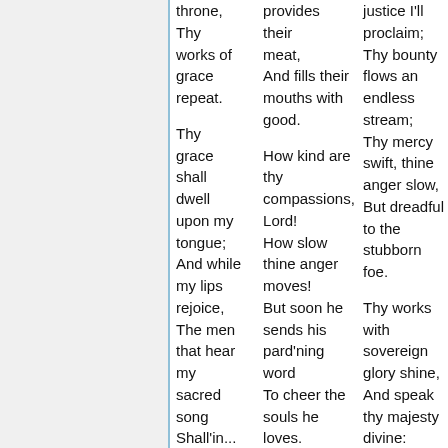throne, Thy works of grace repeat.
Thy grace shall dwell upon my tongue; And while my lips rejoice, The men that hear my sacred song Shall'in...
provides their meat, And fills their mouths with good.
How kind are thy compassions, Lord! How slow thine anger moves! But soon he sends his pard'ning word To cheer the souls he loves.
justice I'll proclaim; Thy bounty flows an endless stream; Thy mercy swift, thine anger slow, But dreadful to the stubborn foe.
Thy works with sovereign glory shine, And speak thy majesty divine: